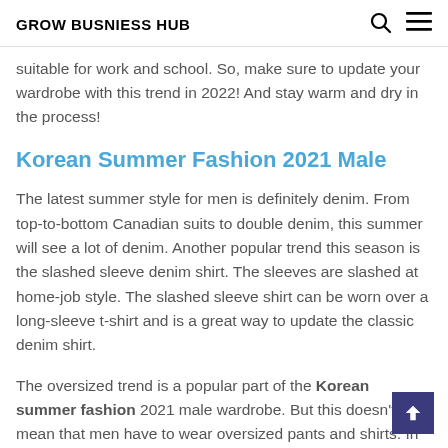GROW BUSNIESS HUB
suitable for work and school. So, make sure to update your wardrobe with this trend in 2022! And stay warm and dry in the process!
Korean Summer Fashion 2021 Male
The latest summer style for men is definitely denim. From top-to-bottom Canadian suits to double denim, this summer will see a lot of denim. Another popular trend this season is the slashed sleeve denim shirt. The sleeves are slashed at home-job style. The slashed sleeve shirt can be worn over a long-sleeve t-shirt and is a great way to update the classic denim shirt.
The oversized trend is a popular part of the Korean summer fashion 2021 male wardrobe. But this doesn't mean that men have to wear oversized pants and shirts. In fact, they can wear a classic